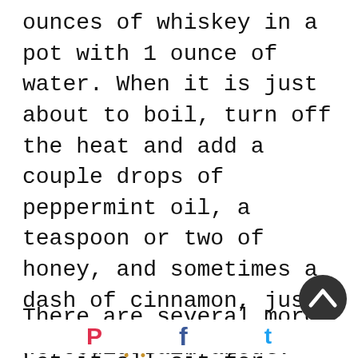ounces of whiskey in a pot with 1 ounce of water. When it is just about to boil, turn off the heat and add a couple drops of peppermint oil, a teaspoon or two of honey, and sometimes a dash of cinnamon, just depends on how I feel. Let it all sit for about 10 minutes; then drink it and sleep.
There are several more we could talk about: ear candles for earaches,
Pinterest  Facebook  Twitter